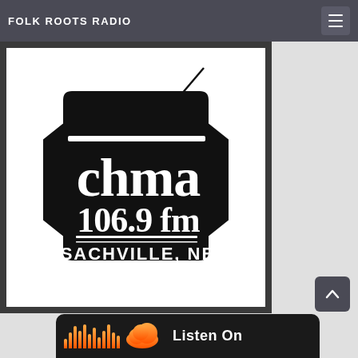FOLK ROOTS RADIO
[Figure (logo): CHMA 106.9 FM Sachville, NB radio station logo in black and white with script lettering inside a shield/badge shape]
[Figure (logo): SoundCloud 'Listen On' banner with orange waveform bars and cloud icon on dark background]